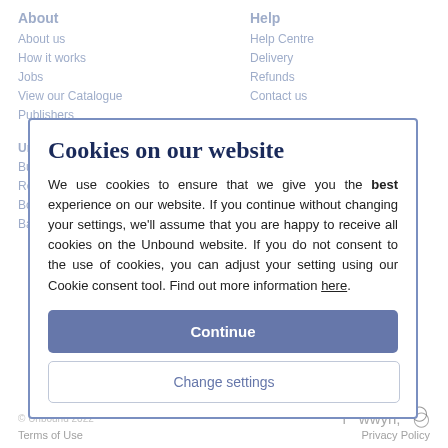About
Help
About us
Help Centre
How it works
Delivery
Jobs
Refunds
View our Catalogue
Contact us
Publishers
Unbound Family
Social
Buy a book
Reading Club
Boundless
Backlisted
Cookies on our website
We use cookies to ensure that we give you the best experience on our website. If you continue without changing your settings, we'll assume that you are happy to receive all cookies on the Unbound website. If you do not consent to the use of cookies, you can adjust your setting using our Cookie consent tool. Find out more information here.
Continue
© Unbound 2022
Change settings
Terms of Use
Privacy Policy